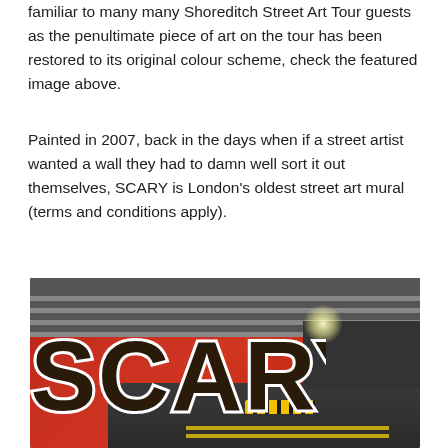familiar to many many Shoreditch Street Art Tour guests as the penultimate piece of art on the tour has been restored to its original colour scheme, check the featured image above.
Painted in 2007, back in the days when if a street artist wanted a wall they had to damn well sort it out themselves, SCARY is London's oldest street art mural (terms and conditions apply).
[Figure (photo): Night photograph of the SCARY street art mural in Shoreditch, London. Large bold letters spelling 'SCARY' painted in dark brown/black with white outlines on a vivid red brick wall under a bridge. The street at night with blue sky visible at the end of the underpass, street lights glowing, yellow road barriers visible on the road.]